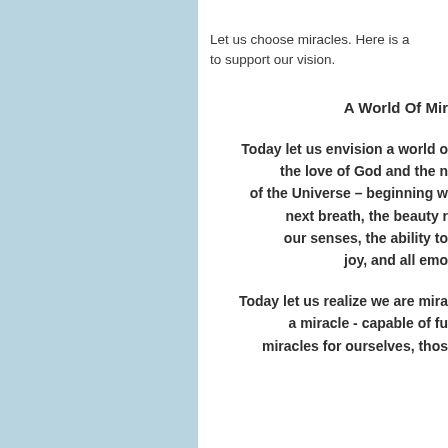Let us choose miracles. Here is a... to support our vision.
A World Of Mir...
Today let us envision a world o... the love of God and the ... of the Universe – beginning w... next breath, the beauty r... our senses, the ability to... joy, and all emo...
Today let us realize we are mira... a miracle - capable of fu... miracles for ourselves, thos...